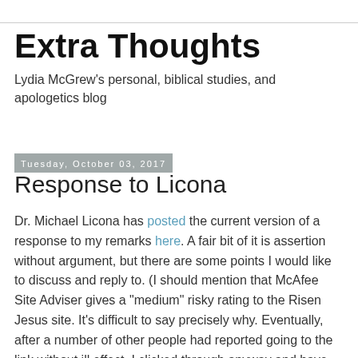Extra Thoughts
Lydia McGrew's personal, biblical studies, and apologetics blog
Tuesday, October 03, 2017
Response to Licona
Dr. Michael Licona has posted the current version of a response to my remarks here. A fair bit of it is assertion without argument, but there are some points I would like to discuss and reply to. (I should mention that McAfee Site Adviser gives a "medium" risky rating to the Risen Jesus site. It's difficult to say precisely why. Eventually, after a number of other people had reported going to the link without ill effect, I clicked through anyway and have not seen any resulting problem. I mention the point for readers who might want to know.)